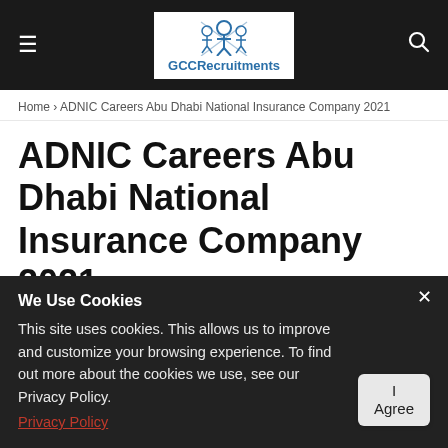GCCRecruitments
Home › ADNIC Careers Abu Dhabi National Insurance Company 2021
ADNIC Careers Abu Dhabi National Insurance Company 2021
April 12, 2021
We Use Cookies
This site uses cookies. This allows us to improve and customize your browsing experience. To find out more about the cookies we use, see our Privacy Policy.
Privacy Policy